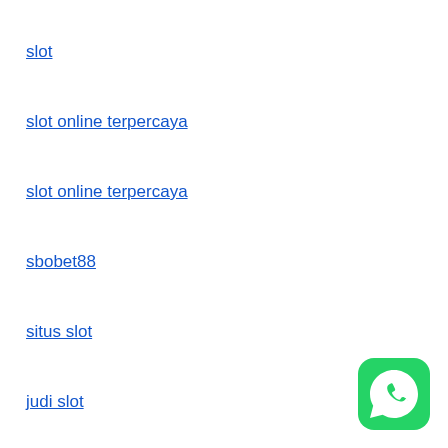slot
slot online terpercaya
slot online terpercaya
sbobet88
situs slot
judi slot
[Figure (illustration): WhatsApp green icon with phone receiver symbol, rounded square shape]